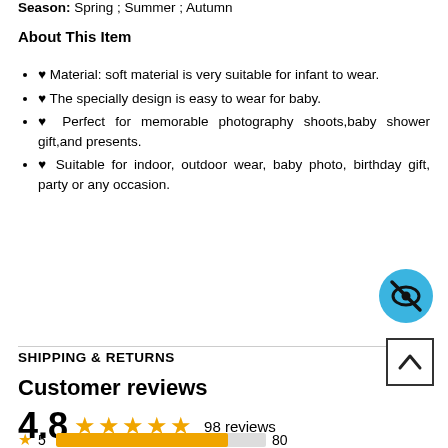Season: Spring ; Summer ; Autumn
About This Item
♥ Material: soft material is very suitable for infant to wear.
♥ The specially design is easy to wear for baby.
♥ Perfect for memorable photography shoots,baby shower gift,and presents.
♥ Suitable for indoor, outdoor wear, baby photo, birthday gift, party or any occasion.
[Figure (other): Privacy/hide icon — a blue circle with a crossed-out eye symbol]
SHIPPING & RETURNS
[Figure (other): Scroll-to-top button — a square button with an upward chevron arrow]
Customer reviews
4.8  ★★★★★  98 reviews
★ 5   [bar]   80